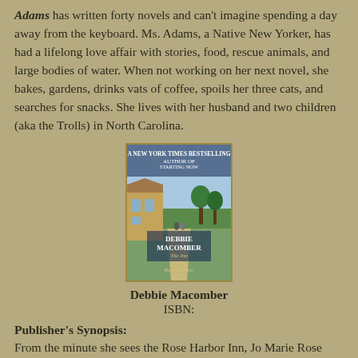Adams has written forty novels and can't imagine spending a day away from the keyboard. Ms. Adams, a Native New Yorker, has had a lifelong love affair with stories, food, rescue animals, and large bodies of water. When not working on her next novel, she bakes, gardens, drinks vats of coffee, spoils her three cats, and searches for snacks. She lives with her husband and two children (aka the Trolls) in North Carolina.
[Figure (illustration): Book cover of 'The Inn at Rose Harbor' by Debbie Macomber, showing a scenic path with two figures walking, framed with a gold border.]
Debbie Macomber
ISBN:
Publisher's Synopsis:
From the minute she sees the Rose Harbor Inn, Jo Marie Rose knows that this is the place that will help her find the peace she craves. And if the inn can comfort her, surely it can offer the same refuge to her first two guests.